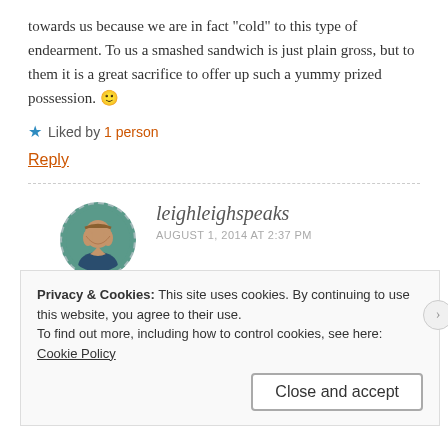towards us because we are in fact “cold” to this type of endearment. To us a smashed sandwich is just plain gross, but to them it is a great sacrifice to offer up such a yummy prized possession. 🙂
★ Liked by 1 person
Reply
leighleighspeaks
AUGUST 1, 2014 AT 2:37 PM
Privacy & Cookies: This site uses cookies. By continuing to use this website, you agree to their use.
To find out more, including how to control cookies, see here: Cookie Policy
Close and accept